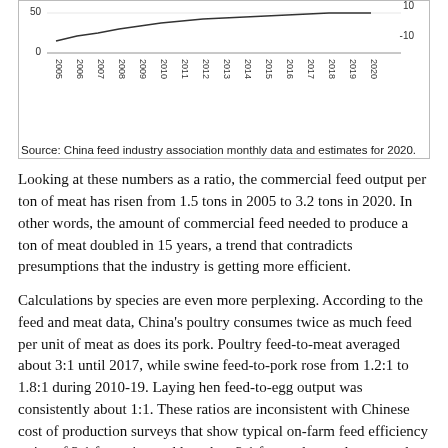[Figure (continuous-plot): Partial line chart showing data from 2005 to 2020 with y-axis values visible at 50 and 0 on left, and 10 and -10 on right. X-axis shows years 2005-2020 rotated.]
Source: China feed industry association monthly data and estimates for 2020.
Looking at these numbers as a ratio, the commercial feed output per ton of meat has risen from 1.5 tons in 2005 to 3.2 tons in 2020. In other words, the amount of commercial feed needed to produce a ton of meat doubled in 15 years, a trend that contradicts presumptions that the industry is getting more efficient.
Calculations by species are even more perplexing. According to the feed and meat data, China's poultry consumes twice as much feed per unit of meat as does its pork. Poultry feed-to-meat averaged about 3:1 until 2017, while swine feed-to-pork rose from 1.2:1 to 1.8:1 during 2010-19. Laying hen feed-to-egg output was consistently about 1:1. These ratios are inconsistent with Chinese cost of production surveys that show typical on-farm feed efficiency ratios of 3:1 for swine and less than 2:1 for poultry and eggs, and the ratios have changed only marginally over the years. Moreover, the